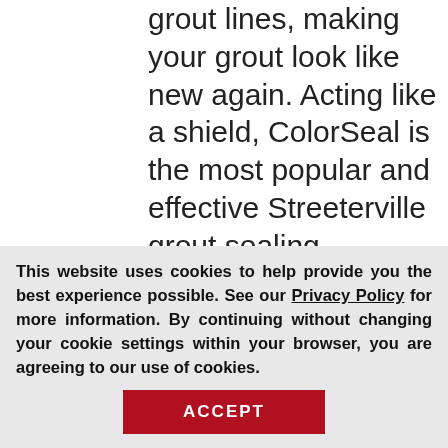grout lines, making your grout look like new again. Acting like a shield, ColorSeal is the most popular and effective Streeterville grout sealing treatment. This amazing process makes grout stain, water, mold, and mildew resistant. ColorSeal is designed to last the lifespan of the grout. Sir Grout Chicago is confident that its ColorSeal is the best on the market. Therefore, residential and commercial customers who use Streeterville grout sealing service receive a conditional lifetime warr...
This website uses cookies to help provide you the best experience possible. See our Privacy Policy for more information. By continuing without changing your cookie settings within your browser, you are agreeing to our use of cookies.
ACCEPT